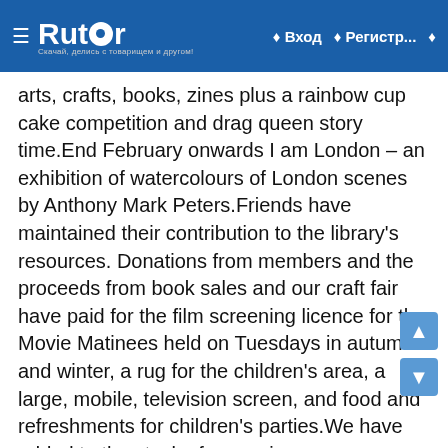Rutor | Вход | Регистр...
arts, crafts, books, zines plus a rainbow cup cake competition and drag queen story time.End February onwards I am London – an exhibition of watercolours of London scenes by Anthony Mark Peters.Friends have maintained their contribution to the library's resources. Donations from members and the proceeds from book sales and our craft fair have paid for the film screening licence for the Movie Matinees held on Tuesdays in autumn and winter, a rug for the children's area, a large, mobile, television screen, and food and refreshments for children's parties.We have added to the stock of magazines – as an organisation through a subscription to The Week and as individuals donating copies of The Economist, New Statesman, Spectator, London Review of Books and Private Eye (among others).The gardening group has held Open Garden sessions in Tradescant's Retreat (the courtyard garden at the rear of the library) on the second Saturday of each month during the summer period. People could sit down (sheltered by a gazebo), read, meet the volunteers who tend the garden and share seeds.Meanwhile, in the hope of influencing the shape and